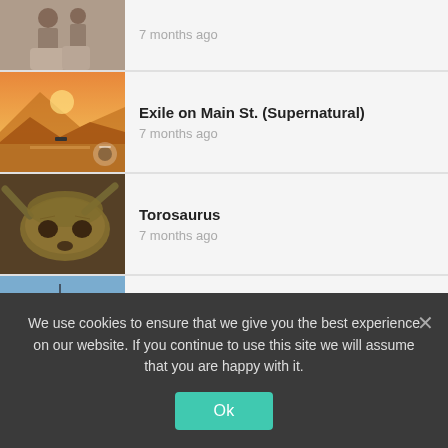[Figure (photo): Partial thumbnail - vintage black and white photo of two people]
7 months ago
[Figure (photo): Thumbnail - warm golden sunset landscape over water]
Exile on Main St. (Supernatural)
7 months ago
[Figure (photo): Thumbnail - Torosaurus dinosaur skull fossil]
Torosaurus
7 months ago
[Figure (photo): Thumbnail - USS Guadalcanal naval ship]
USS Guadalcanal (LPH-7)
7 months ago
We use cookies to ensure that we give you the best experience on our website. If you continue to use this site we will assume that you are happy with it.